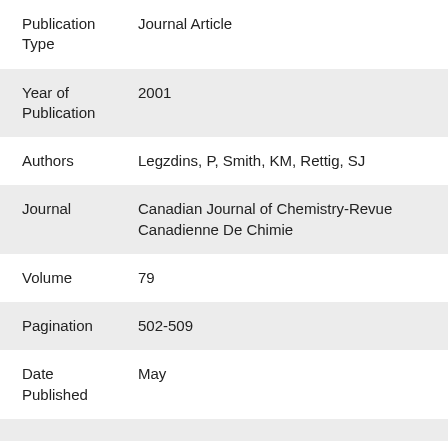| Field | Value |
| --- | --- |
| Publication Type | Journal Article |
| Year of Publication | 2001 |
| Authors | Legzdins, P, Smith, KM, Rettig, SJ |
| Journal | Canadian Journal of Chemistry-Revue Canadienne De Chimie |
| Volume | 79 |
| Pagination | 502-509 |
| Date Published | May |